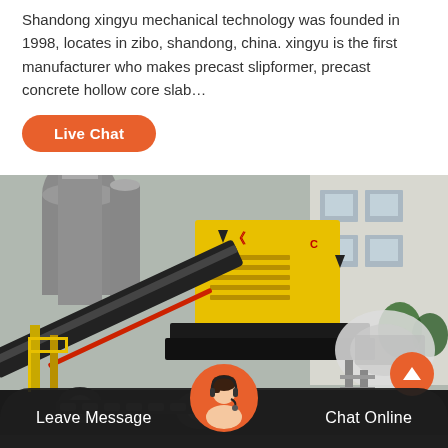Shandong xingyu mechanical technology was founded in 1998, locates in zibo, shandong, china. xingyu is the first manufacturer who makes precast slipformer, precast concrete hollow core slab…
Live Chat
[Figure (photo): Industrial construction machinery (jaw crusher / concrete equipment) with yellow generator unit, conveyor belts, and steel framework, parked outdoors near a factory building]
Leave Message
Chat Online